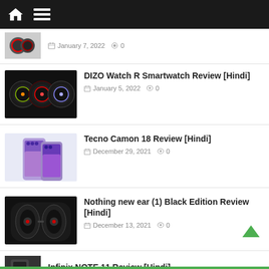Navigation bar with home and menu icons
January 7, 2022   0
DIZO Watch R Smartwatch Review [Hindi]
January 5, 2022   0
Tecno Camon 18 Review [Hindi]
December 29, 2021   0
Nothing new ear (1) Black Edition Review [Hindi]
December 13, 2021   0
Infinix NOTE 11 Review [Hindi]